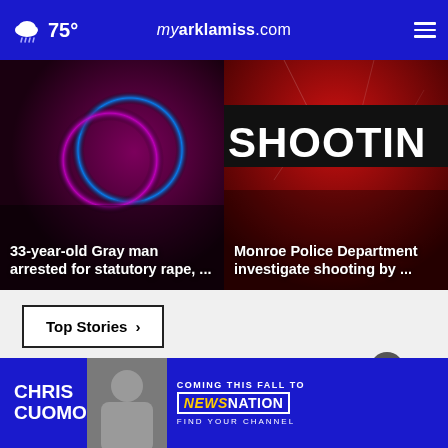75° myarklamiss.com
[Figure (photo): Left article thumbnail: dark purple/red background with glowing rings, overlay text: 33-year-old Gray man arrested for statutory rape, ...]
33-year-old Gray man arrested for statutory rape, ...
[Figure (photo): Right article thumbnail: red cracked background with 'SHOOTING' text graphic, overlay text: Monroe Police Department investigate shooting by ...]
Monroe Police Department investigate shooting by ...
Top Stories ›
[Figure (photo): Advertisement banner: Chris Cuomo Coming This Fall to NewsNation - Find Your Channel]
CHRIS CUOMO COMING THIS FALL TO [NEWSNATION] FIND YOUR CHANNEL